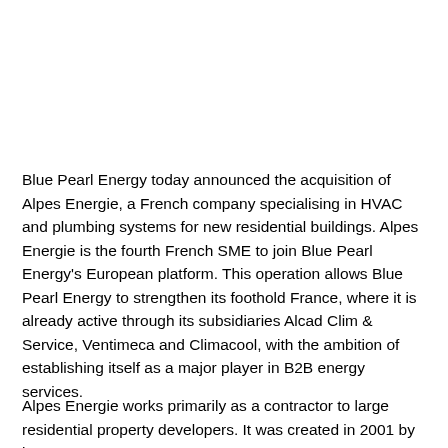Blue Pearl Energy today announced the acquisition of Alpes Energie, a French company specialising in HVAC and plumbing systems for new residential buildings. Alpes Energie is the fourth French SME to join Blue Pearl Energy's European platform. This operation allows Blue Pearl Energy to strengthen its foothold France, where it is already active through its subsidiaries Alcad Clim & Service, Ventimeca and Climacool, with the ambition of establishing itself as a major player in B2B energy services.
Alpes Energie works primarily as a contractor to large residential property developers. It was created in 2001 by its